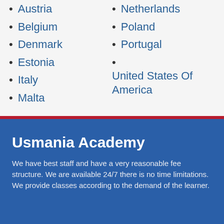Austria
Belgium
Denmark
Estonia
Italy
Malta
Netherlands
Poland
Portugal
United States Of America
Usmania Academy
We have best staff and have a very reasonable fee structure. We are available 24/7 there is no time limitations. We provide classes according to the demand of the learner.